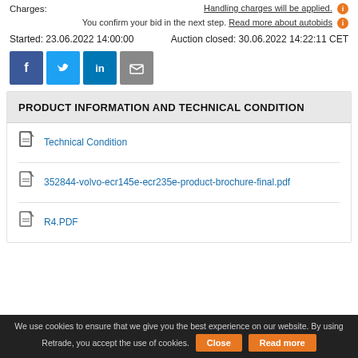Charges:
Handling charges will be applied. (i)
You confirm your bid in the next step. Read more about autobids (i)
Started: 23.06.2022 14:00:00    Auction closed: 30.06.2022 14:22:11 CET
[Figure (other): Social sharing icons: Facebook, Twitter, LinkedIn, Email]
PRODUCT INFORMATION AND TECHNICAL CONDITION
Technical Condition
352844-volvo-ecr145e-ecr235e-product-brochure-final.pdf
R4.PDF
We use cookies to ensure that we give you the best experience on our website. By using Retrade, you accept the use of cookies. Close  Read more